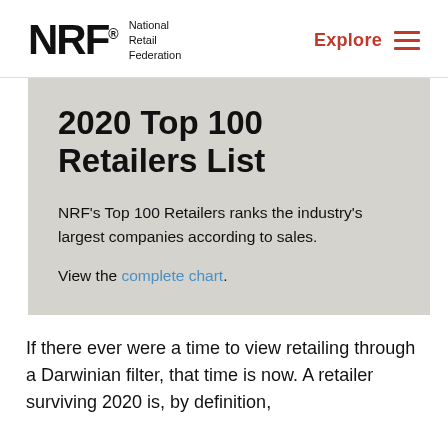NRF National Retail Federation | Explore
2020 Top 100 Retailers List
NRF's Top 100 Retailers ranks the industry's largest companies according to sales.
View the complete chart.
If there ever were a time to view retailing through a Darwinian filter, that time is now. A retailer surviving 2020 is, by definition,